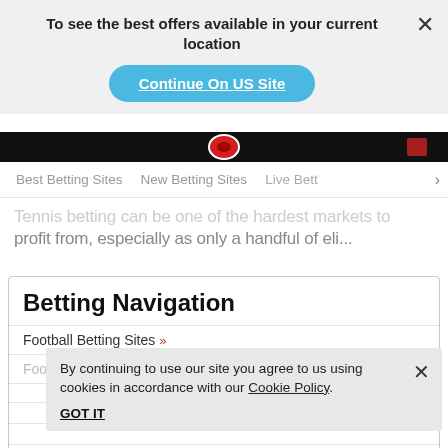To see the best offers available in your current location
Continue On US Site
Best Betting Sites   New Betting Sites   Live Bett...
Tennis betting can be one of the hardest markets to profit from, especially as only a handful of eli...
Betting Navigation
Football Betting Sites >>
Football Betting Strategies >>
Secondary Betting Markets Explained >>
By continuing to use our site you agree to us using cookies in accordance with our Cookie Policy.
GOT IT